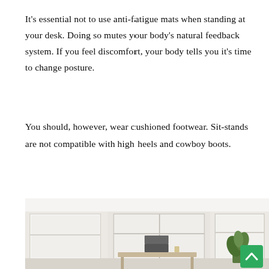It's essential not to use anti-fatigue mats when standing at your desk. Doing so mutes your body's natural feedback system. If you feel discomfort, your body tells you it's time to change posture.
You should, however, wear cushioned footwear. Sit-stands are not compatible with high heels and cowboy boots.
[Figure (photo): Interior photo of a bright minimalist home office with white walls, two large windows with white Roman shades, a standing desk with a laptop in the center, a green plant on the right, and a small green scroll-to-top button in the lower right corner.]